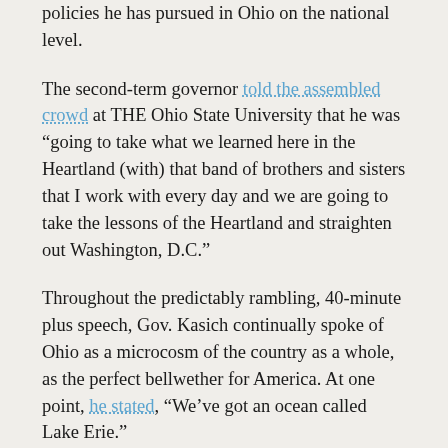policies he has pursued in Ohio on the national level.
The second-term governor told the assembled crowd at THE Ohio State University that he was “going to take what we learned here in the Heartland (with) that band of brothers and sisters that I work with every day and we are going to take the lessons of the Heartland and straighten out Washington, D.C.”
Throughout the predictably rambling, 40-minute plus speech, Gov. Kasich continually spoke of Ohio as a microcosm of the country as a whole, as the perfect bellwether for America. At one point, he stated, “We’ve got an ocean called Lake Erie.”
The Governor’s choice to specifically reference our Great Lake provides a convenient opportunity for us to check out his track record on environmental policies in Ohio. Examining how he has dealt with Lake Erie, by far Ohio’s